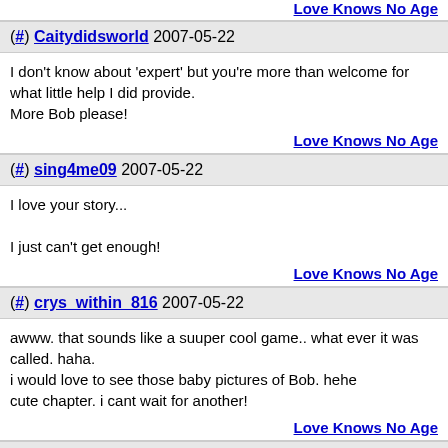Love Knows No Age
(#) Caitydidsworld 2007-05-22
I don't know about 'expert' but you're more than welcome for what little help I did provide.
More Bob please!
Love Knows No Age
(#) sing4me09 2007-05-22
I love your story...

I just can't get enough!
Love Knows No Age
(#) crys_within_816 2007-05-22
awww. that sounds like a suuper cool game.. what ever it was called. haha.
i would love to see those baby pictures of Bob. hehe
cute chapter. i cant wait for another!
Love Knows No Age
(#) cutegirl12356 2007-05-22